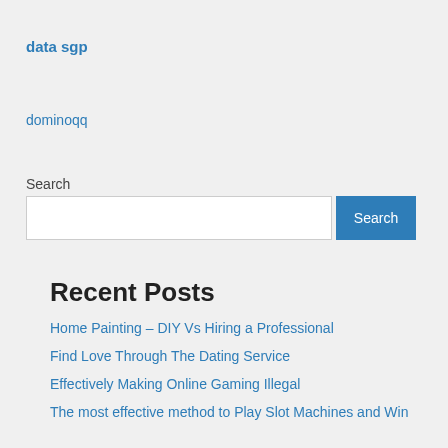data sgp
dominoqq
Search
Recent Posts
Home Painting – DIY Vs Hiring a Professional
Find Love Through The Dating Service
Effectively Making Online Gaming Illegal
The most effective method to Play Slot Machines and Win